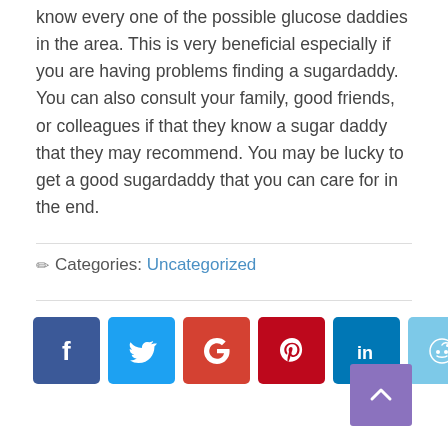know every one of the possible glucose daddies in the area. This is very beneficial especially if you are having problems finding a sugardaddy. You can also consult your family, good friends, or colleagues if that they know a sugar daddy that they may recommend. You may be lucky to get a good sugardaddy that you can care for in the end.
✏ Categories: Uncategorized
[Figure (other): Row of social media share buttons: Facebook (dark blue), Twitter (light blue), Google (red-orange), Pinterest (dark red), LinkedIn (dark teal), Reddit (light blue), Tumblr (dark navy)]
[Figure (other): Back to top button — purple square with white upward chevron arrow]